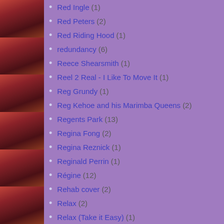Red Ingle (1)
Red Peters (2)
Red Riding Hood (1)
redundancy (6)
Reece Shearsmith (1)
Reel 2 Real - I Like To Move It (1)
Reg Grundy (1)
Reg Kehoe and his Marimba Queens (2)
Regents Park (13)
Regina Fong (2)
Regina Reznick (1)
Reginald Perrin (1)
Régine (12)
Rehab cover (2)
Relax (2)
Relax (Take it Easy) (1)
Remembrance Day (2)
Ren and Stimpy (1)
Renato Zero (2)
Rene Froger (2)
Renée Fleming (1)
Renee Zellweger (1)
Rentahost (1)